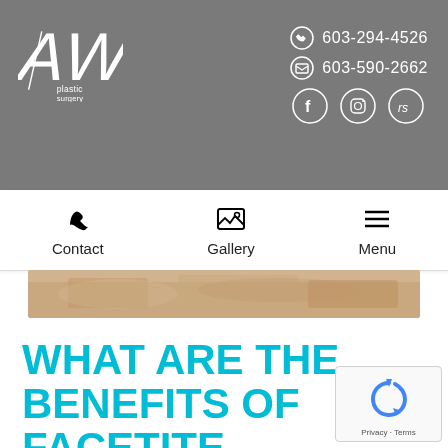[Figure (logo): AW Plastic Surgery logo in white on grey background]
603-294-4526
603-590-2662
[Figure (other): Social media icons: Facebook, Instagram, RealSelf]
[Figure (other): Navigation bar with Contact, Gallery, Menu icons]
[Figure (photo): Partial photo of face/skin treatment]
WHAT ARE THE BENEFITS OF FACETITE FACIAL CONTOURING TREATMENTS?